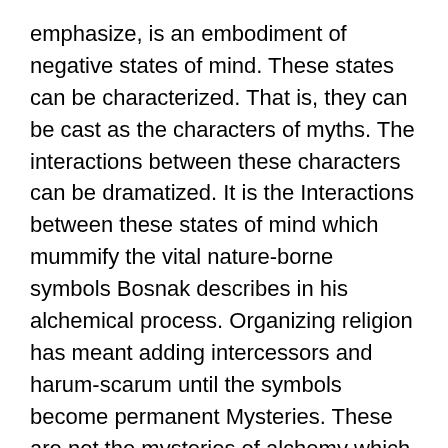emphasize, is an embodiment of negative states of mind. These states can be characterized. That is, they can be cast as the characters of myths. The interactions between these characters can be dramatized. It is the Interactions between these states of mind which mummify the vital nature-borne symbols Bosnak describes in his alchemical process. Organizing religion has meant adding intercessors and harum-scarum until the symbols become permanent Mysteries. These are not the mysteries of alchemy which open to investigation as discovery and transformation. Instead they are- permanent Mysteries there to solidify the power of a priestly class; that class claims sole right to these mysteries of them and so too to an authority than demands obedient ignorance.
The relation between these two states of mind, Caste